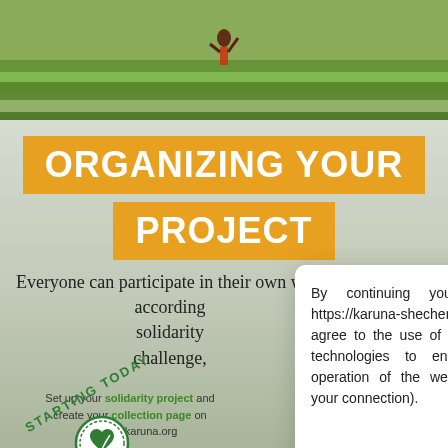[Figure (photo): Photograph of a person in a green rice paddy field, with layered terraces and lush greenery in the background.]
ORGANIZING YOUR PROJECT
Everyone can participate in their own way, according to their solidarity challenge,
Set up your solidarity project and create your collection page on actionforkaruna.org
[Figure (logo): Circular green logo with a heart and leaf design inside.]
STARTING TODAY
By continuing your navigation on https://karuna-shechen.igive.iraiser.eu you agree to the use of cookies and similar technologies to ensure the nominal operation of the website (eg. maintain your connection).
Close